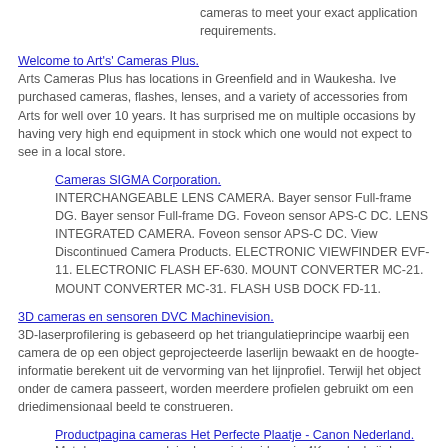cameras to meet your exact application requirements.
Welcome to Art's' Cameras Plus.
Arts Cameras Plus has locations in Greenfield and in Waukesha. Ive purchased cameras, flashes, lenses, and a variety of accessories from Arts for well over 10 years. It has surprised me on multiple occasions by having very high end equipment in stock which one would not expect to see in a local store.
Cameras SIGMA Corporation.
INTERCHANGEABLE LENS CAMERA. Bayer sensor Full-frame DG. Bayer sensor Full-frame DG. Foveon sensor APS-C DC. LENS INTEGRATED CAMERA. Foveon sensor APS-C DC. View Discontinued Camera Products. ELECTRONIC VIEWFINDER EVF-11. ELECTRONIC FLASH EF-630. MOUNT CONVERTER MC-21. MOUNT CONVERTER MC-31. FLASH USB DOCK FD-11.
3D cameras en sensoren DVC Machinevision.
3D-laserprofilering is gebaseerd op het triangulatieprincipe waarbij een camera de op een object geprojecteerde laserlijn bewaakt en de hoogte-informatie berekent uit de vervorming van het lijnprofiel. Terwijl het object onder de camera passeert, worden meerdere profielen gebruikt om een driedimensionaal beeld te construeren.
Productpagina cameras Het Perfecte Plaatje - Canon Nederland.
Met de camera maak je de mooiste videos in 4K en dankzij de Automatische videotranscodering-